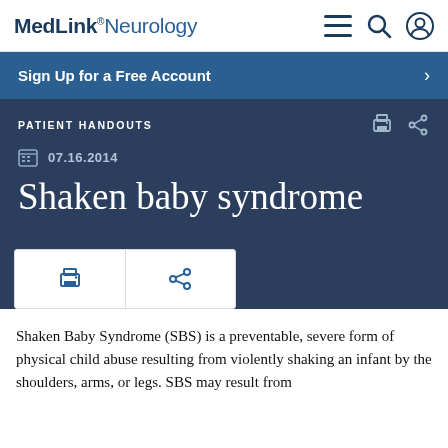MedLink® Neurology
Sign Up for a Free Account
PATIENT HANDOUTS
07.16.2014
Shaken baby syndrome
Shaken Baby Syndrome (SBS) is a preventable, severe form of physical child abuse resulting from violently shaking an infant by the shoulders, arms, or legs. SBS may result from